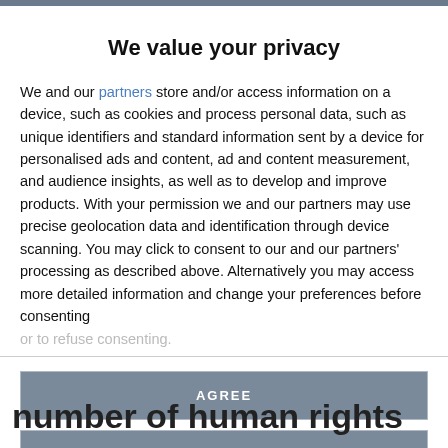We value your privacy
We and our partners store and/or access information on a device, such as cookies and process personal data, such as unique identifiers and standard information sent by a device for personalised ads and content, ad and content measurement, and audience insights, as well as to develop and improve products. With your permission we and our partners may use precise geolocation data and identification through device scanning. You may click to consent to our and our partners' processing as described above. Alternatively you may access more detailed information and change your preferences before consenting or to refuse consenting.
AGREE
MORE OPTIONS
number of human rights